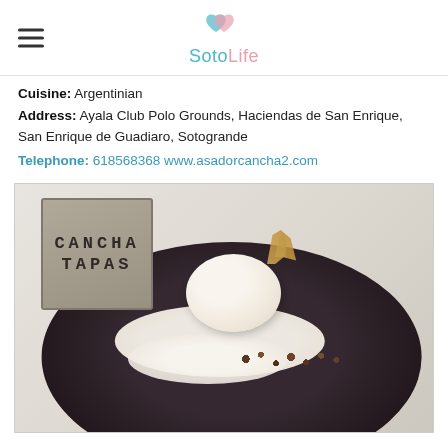SotoLife
Cuisine: Argentinian
Address: Ayala Club Polo Grounds, Haciendas de San Enrique, San Enrique de Guadiaro, Sotogrande
Telephone: 618568368 www.asadorcancha2.com
[Figure (photo): A dark plate with a dessert: a scoop of ice cream or panna cotta with golden garnish on top, white cream base, and crumbled topping. In the background is a sign reading 'CANCHA TAPAS'.]